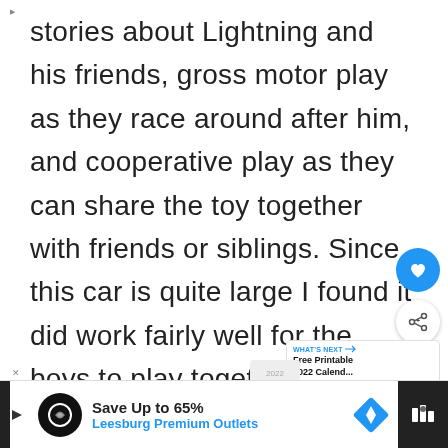stories about Lightning and his friends, gross motor play as they race around after him, and cooperative play as they can share the toy together with friends or siblings. Since this car is quite large I found it did work fairly well for the boys to play together, compared to smaller match
[Figure (screenshot): UI overlay elements: heart/favorite button (blue circle with heart icon), share button (white circle with share icon), and a 'WHAT'S NEXT' card showing 'Free Printable 2022 Calend...' with a calendar thumbnail]
[Figure (screenshot): Advertisement banner at bottom: Leesburg Premium Outlets 'Save Up to 65%' ad with logo, text, and navigation arrow badge. Dark strip on right side.]